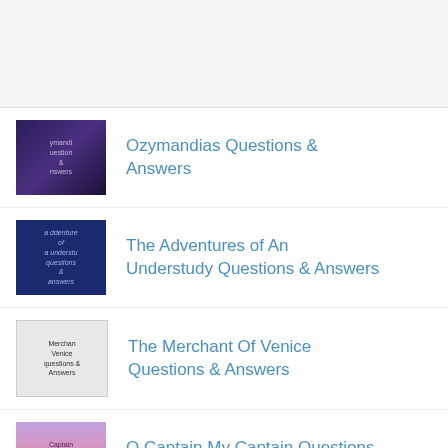Ozymandias Questions & Answers
The Adventures of An Understudy Questions & Answers
The Merchant Of Venice Questions & Answers
O Captain My Captain Questions & Answers